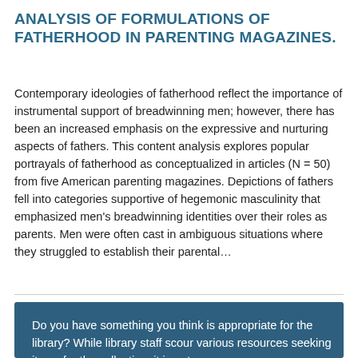ANALYSIS OF FORMULATIONS OF FATHERHOOD IN PARENTING MAGAZINES.
Contemporary ideologies of fatherhood reflect the importance of instrumental support of breadwinning men; however, there has been an increased emphasis on the expressive and nurturing aspects of fathers. This content analysis explores popular portrayals of fatherhood as conceptualized in articles (N = 50) from five American parenting magazines. Depictions of fathers fell into categories supportive of hegemonic masculinity that emphasized men's breadwinning identities over their roles as parents. Men were often cast in ambiguous situations where they struggled to establish their parental…
Do you have something you think is appropriate for the library? While library staff scour various resources seeking items for the collection, it is not